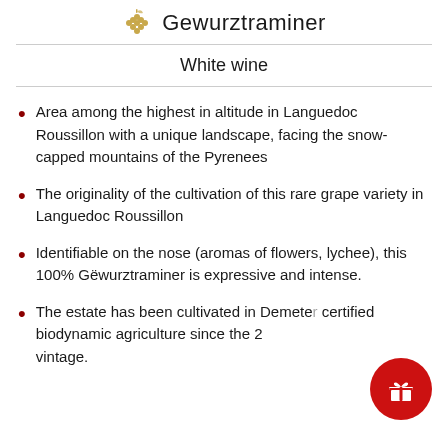Gewurztraminer
White wine
Area among the highest in altitude in Languedoc Roussillon with a unique landscape, facing the snow-capped mountains of the Pyrenees
The originality of the cultivation of this rare grape variety in Languedoc Roussillon
Identifiable on the nose (aromas of flowers, lychee), this 100% Gëwurztraminer is expressive and intense.
The estate has been cultivated in Demeter certified biodynamic agriculture since the 2 vintage.